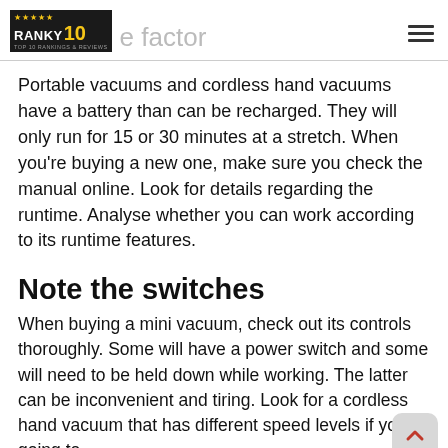Runtime factor
Portable vacuums and cordless hand vacuums have a battery than can be recharged. They will only run for 15 or 30 minutes at a stretch. When you're buying a new one, make sure you check the manual online. Look for details regarding the runtime. Analyse whether you can work according to its runtime features.
Note the switches
When buying a mini vacuum, check out its controls thoroughly. Some will have a power switch and some will need to be held down while working. The latter can be inconvenient and tiring. Look for a cordless hand vacuum that has different speed levels if you're going to